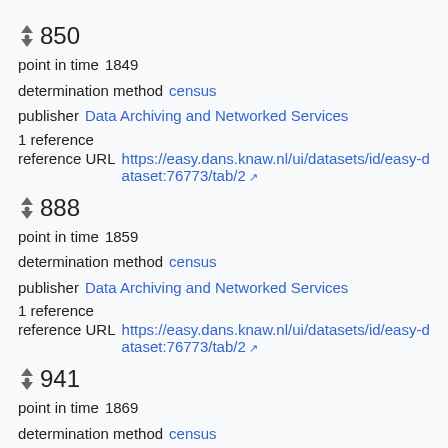850
point in time 1849
determination method census
publisher Data Archiving and Networked Services
1 reference
reference URL https://easy.dans.knaw.nl/ui/datasets/id/easy-dataset:76773/tab/2
888
point in time 1859
determination method census
publisher Data Archiving and Networked Services
1 reference
reference URL https://easy.dans.knaw.nl/ui/datasets/id/easy-dataset:76773/tab/2
941
point in time 1869
determination method census
publisher Data Archiving and Networked Services